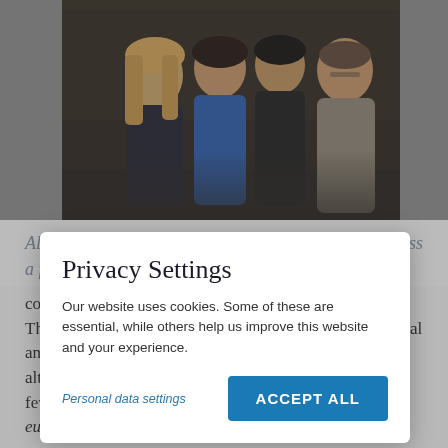[Figure (photo): Group photo of several people posing together against a dark background]
Although the ensemble was smaller, it was nevertheless a full-fledged eurobrass tour. Although the program was shorter, although something fit together.
We were really pleased to hear this response from an audience member at our first concert this summer. His words confirmed that we had met our goal: to combine good music with a message of hope in Jesus. These words could also describe the entire "eurobrass mal anders" project: Although the ensemble was smaller, although the program was shorter, although we played fewer events—it was nevertheless a full-fledged eurobrass tour.
Privacy Settings
Our website uses cookies. Some of these are essential, while others help us improve this website and your experience.
Personal data settings
ACCEPT ALL